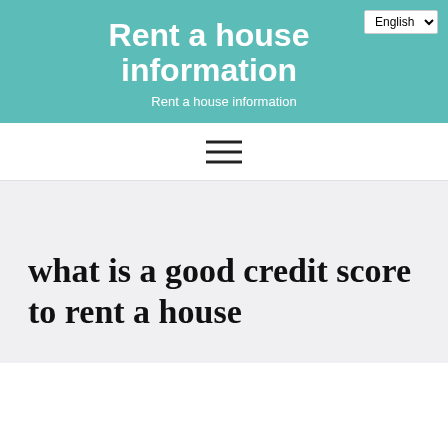Rent a house information
Rent a house information
what is a good credit score to rent a house